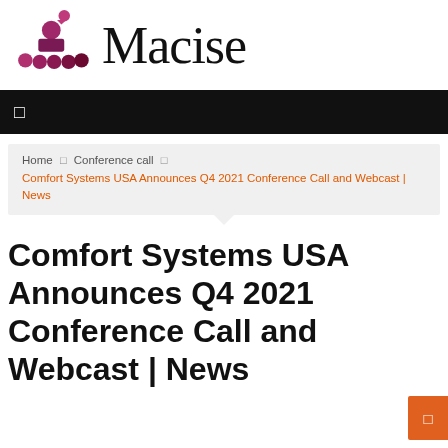[Figure (logo): Macise logo: purple/magenta icon of a presenter at podium with audience circles, beside large serif text 'Macise']
[Figure (screenshot): Black navigation bar with white hamburger/menu icon on left]
Home □ Conference call □ Comfort Systems USA Announces Q4 2021 Conference Call and Webcast | News
Comfort Systems USA Announces Q4 2021 Conference Call and Webcast | News